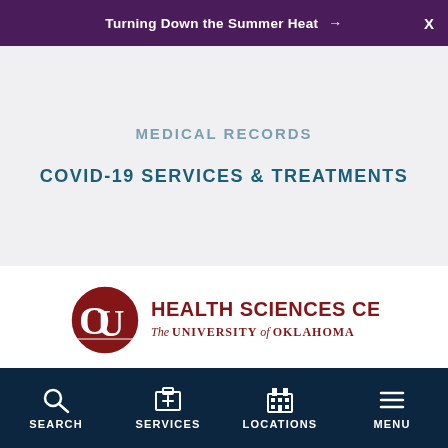Turning Down the Summer Heat →
MEDICAL RECORDS
COVID-19 SERVICES & TREATMENTS
[Figure (logo): OU Health Sciences Center — The University of Oklahoma logo with crimson interlocking OU letters and red serif text]
The University of Oklahoma Health Sciences Center is the academic partner of OU Health, the state's only comprehensive academic health system of hospitals, clinics
SEARCH   SERVICES   LOCATIONS   MENU